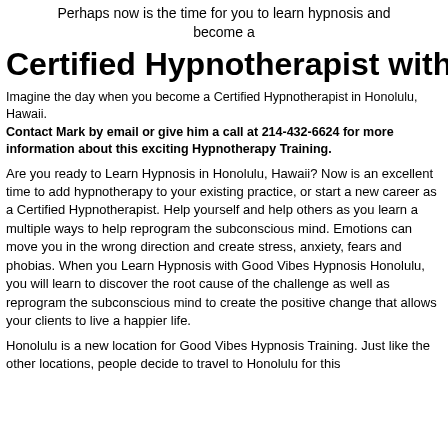Perhaps now is the time for you to learn hypnosis and become a
Certified Hypnotherapist with IACT
Imagine the day when you become a Certified Hypnotherapist in Honolulu, Hawaii.
Contact Mark by email or give him a call at 214-432-6624 for more information about this exciting Hypnotherapy Training.
Are you ready to Learn Hypnosis in Honolulu, Hawaii? Now is an excellent time to add hypnotherapy to your existing practice, or start a new career as a Certified Hypnotherapist. Help yourself and help others as you learn a multiple ways to help reprogram the subconscious mind. Emotions can move you in the wrong direction and create stress, anxiety, fears and phobias. When you Learn Hypnosis with Good Vibes Hypnosis Honolulu, you will learn to discover the root cause of the challenge as well as reprogram the subconscious mind to create the positive change that allows your clients to live a happier life.
Honolulu is a new location for Good Vibes Hypnosis Training. Just like the other locations, people decide to travel to Honolulu for this